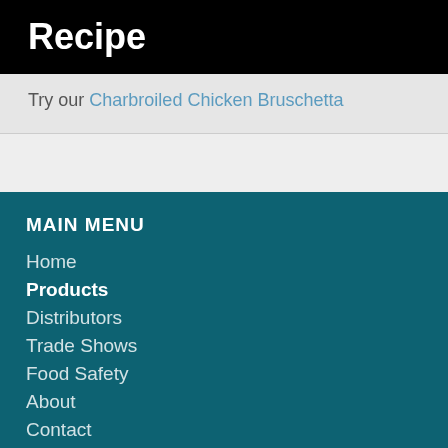Recipe
Try our Charbroiled Chicken Bruschetta
MAIN MENU
Home
Products
Distributors
Trade Shows
Food Safety
About
Contact
PRODUCTS